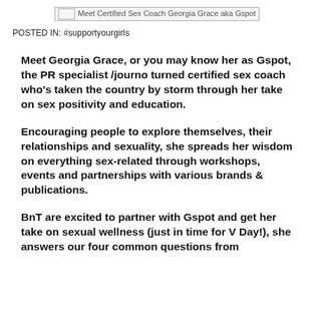[Figure (other): Broken image placeholder with alt text: Meet Certified Sex Coach Georgia Grace aka Gspot]
POSTED IN: #supportyourgirls
Meet Georgia Grace, or you may know her as Gspot, the PR specialist /journo turned certified sex coach who's taken the country by storm through her take on sex positivity and education.
Encouraging people to explore themselves, their relationships and sexuality, she spreads her wisdom on everything sex-related through workshops, events and partnerships with various brands & publications.
BnT are excited to partner with Gspot and get her take on sexual wellness (just in time for V Day!), she answers our four common questions from…